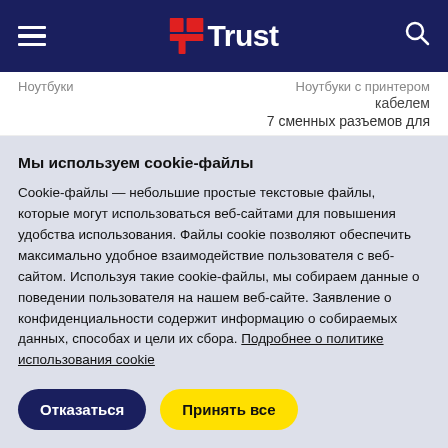Trust (logo navigation bar)
кабелем
7 сменных разъемов для
Мы используем cookie-файлы
Cookie-файлы — небольшие простые текстовые файлы, которые могут использоваться веб-сайтами для повышения удобства использования. Файлы cookie позволяют обеспечить максимально удобное взаимодействие пользователя с веб-сайтом. Используя такие cookie-файлы, мы собираем данные о поведении пользователя на нашем веб-сайте. Заявление о конфиденциальности содержит информацию о собираемых данных, способах и цели их сбора. Подробнее о политике использования cookie
Отказаться | Принять все
Настройки файлов cookie